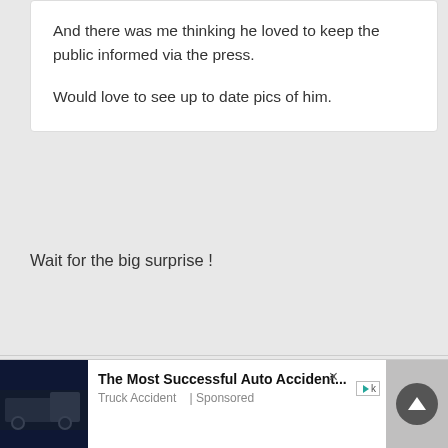And there was me thinking he loved to keep the public informed via the press.

Would love to see up to date pics of him.
Wait for the big surprise !
dallen52
+2471
Posted May 3, 2019
[Figure (screenshot): Ad banner: truck accident image with text 'The Most Successful Auto Accident... Truck Accident | Sponsored']